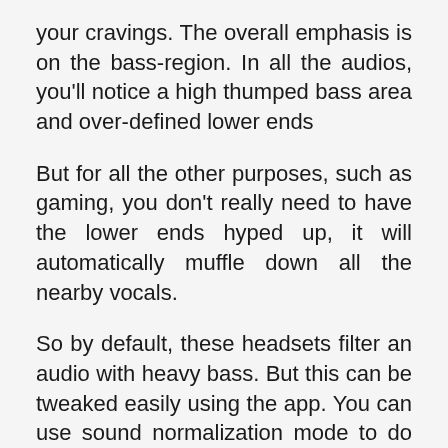your cravings. The overall emphasis is on the bass-region. In all the audios, you'll notice a high thumped bass area and over-defined lower ends
But for all the other purposes, such as gaming, you don't really need to have the lower ends hyped up, it will automatically muffle down all the nearby vocals.
So by default, these headsets filter an audio with heavy bass. But this can be tweaked easily using the app. You can use sound normalization mode to do so, it also has vocal clarity mode for the mid-highs to be really audible, just for immersion in the game.